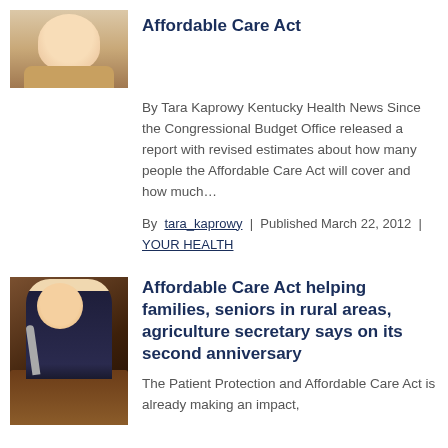[Figure (photo): Headshot photo of a man in a tan/beige jacket, cropped at top]
Affordable Care Act
By Tara Kaprowy Kentucky Health News Since the Congressional Budget Office released a report with revised estimates about how many people the Affordable Care Act will cover and how much...
By tara_kaprowy | Published March 22, 2012 | YOUR HEALTH
[Figure (photo): Photo of a man in a dark suit speaking at a podium with a microphone]
Affordable Care Act helping families, seniors in rural areas, agriculture secretary says on its second anniversary
The Patient Protection and Affordable Care Act is already making an impact,